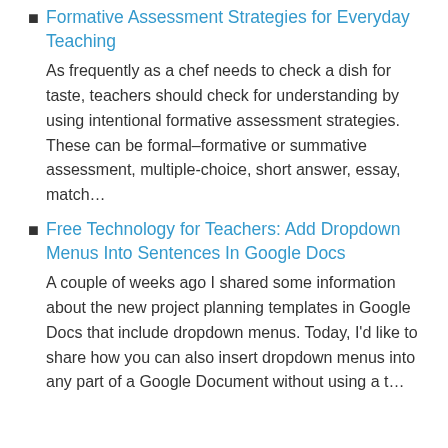Formative Assessment Strategies for Everyday Teaching
As frequently as a chef needs to check a dish for taste, teachers should check for understanding by using intentional formative assessment strategies. These can be formal–formative or summative assessment, multiple-choice, short answer, essay, match…
Free Technology for Teachers: Add Dropdown Menus Into Sentences In Google Docs
A couple of weeks ago I shared some information about the new project planning templates in Google Docs that include dropdown menus. Today, I'd like to share how you can also insert dropdown menus into any part of a Google Document without using a t…